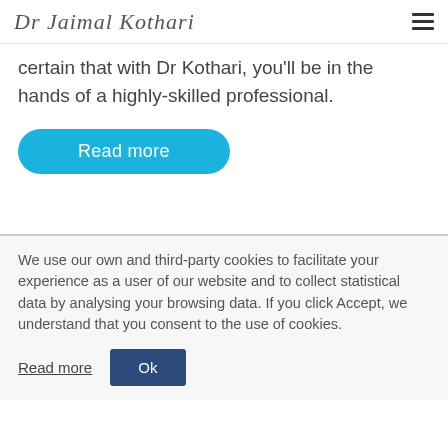Dr Jaimal Kothari
certain that with Dr Kothari, you'll be in the hands of a highly-skilled professional.
Read more
We use our own and third-party cookies to facilitate your experience as a user of our website and to collect statistical data by analysing your browsing data. If you click Accept, we understand that you consent to the use of cookies.
Read more
Ok